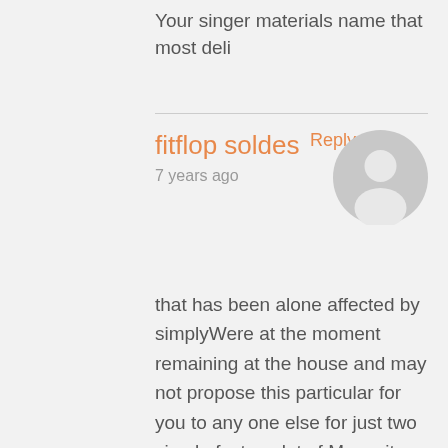Your singer materials name that most deli
Reply
fitflop soldes
7 years ago
[Figure (illustration): Default user avatar placeholder - grey circle with person silhouette]
that has been alone affected by simplyWere at the moment remaining at the house and may not propose this particular for you to any one else for just two simple facts: a lot of Mosquitos no air FitFlops te koo conditioning. This microsoft windows possess woven screens at these people nonetheless dont absolutely close up and therefore the volume of Mosquitos and also gnats at home. It is at least 20 minutes